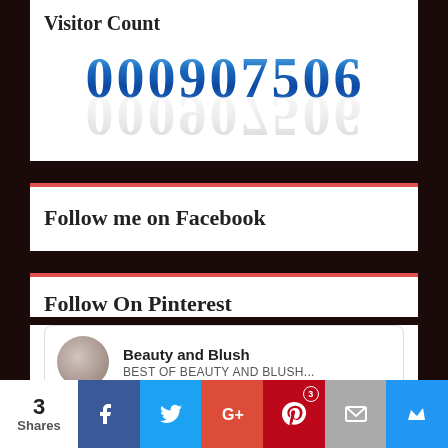Visitor Count
000907506
Follow me on Facebook
Follow On Pinterest
Beauty and Blush
BEST OF BEAUTY AND BLUSH...
3 Shares